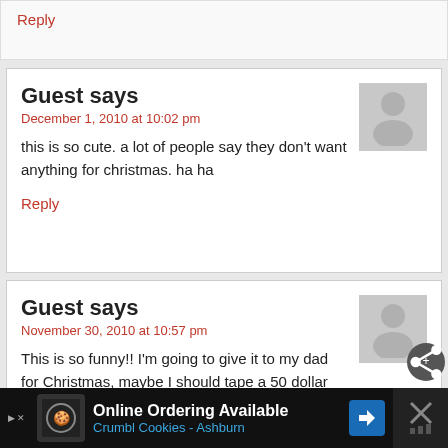Reply
Guest says
December 1, 2010 at 10:02 pm
this is so cute. a lot of people say they don't want anything for christmas. ha ha
Reply
Guest says
November 30, 2010 at 10:57 pm
This is so funny!! I'm going to give it to my dad for Christmas, maybe I should tape a 50 dollar inside of the cap, I mean this is sad!! But so hi same time!
Online Ordering Available Crumbl Cookies - Ashburn